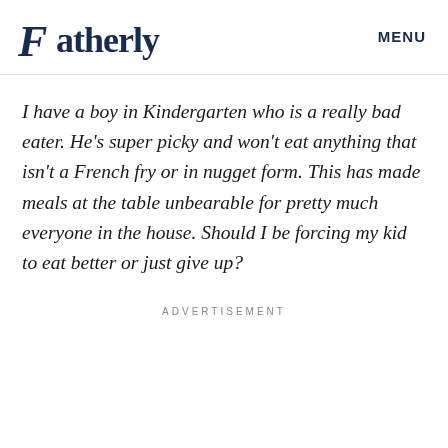Fatherly   MENU
I have a boy in Kindergarten who is a really bad eater. He’s super picky and won’t eat anything that isn’t a French fry or in nugget form. This has made meals at the table unbearable for pretty much everyone in the house. Should I be forcing my kid to eat better or just give up?
ADVERTISEMENT